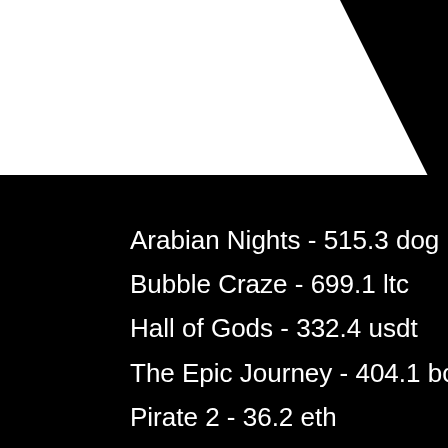MJSoul
Arabian Nights - 515.3 dog
Bubble Craze - 699.1 ltc
Hall of Gods - 332.4 usdt
The Epic Journey - 404.1 bch
Pirate 2 - 36.2 eth
The King Panda - 144.7 bch
Cuba Caliente - 270 dog
Royal Reels - 619.6 dog
Mythic Maiden - 175.8 ltc
Popular Table Games:
Oshi Casino Fruit Mania
Diamond Reels Casino Magic Stone
Diamond Reels Casino Firestorm
Bitcoin Penguin Casino Amazon Wild
Mars Casino James Dean